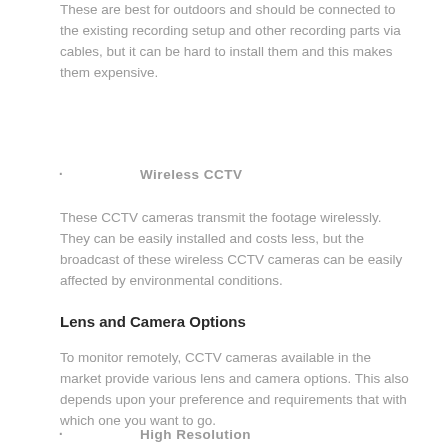These are best for outdoors and should be connected to the existing recording setup and other recording parts via cables, but it can be hard to install them and this makes them expensive.
· Wireless CCTV
These CCTV cameras transmit the footage wirelessly. They can be easily installed and costs less, but the broadcast of these wireless CCTV cameras can be easily affected by environmental conditions.
Lens and Camera Options
To monitor remotely, CCTV cameras available in the market provide various lens and camera options. This also depends upon your preference and requirements that with which one you want to go.
· High Resolution